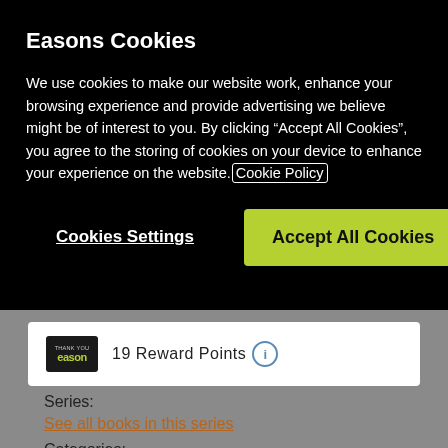Easons Cookies
We use cookies to make our website work, enhance your browsing experience and provide advertising we believe might be of interest to you. By clicking “Accept All Cookies”, you agree to the storing of cookies on your device to enhance your experience on the website. Cookie Policy
Cookies Settings
Accept All Cookies
[Figure (logo): Thank You Eason reward points logo — dark background with green text]
19 Reward Points
Series:
See all books in this series
Categories: